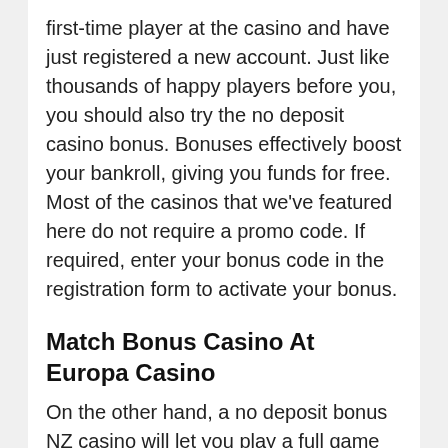first-time player at the casino and have just registered a new account. Just like thousands of happy players before you, you should also try the no deposit casino bonus. Bonuses effectively boost your bankroll, giving you funds for free. Most of the casinos that we've featured here do not require a promo code. If required, enter your bonus code in the registration form to activate your bonus.
Match Bonus Casino At Europa Casino
On the other hand, a no deposit bonus NZ casino will let you play a full game and get cash for free. It's an excellent opportunity to check the casino's games and the casino itself. You can see how the operator works, test its support and payment methods, etc.